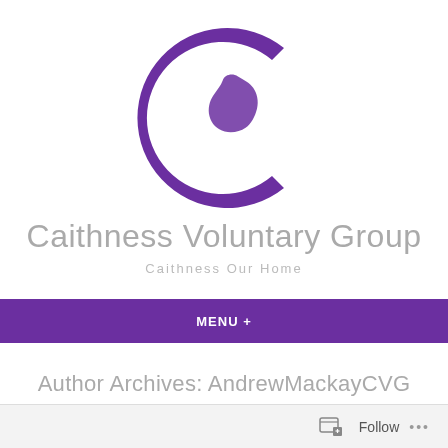[Figure (logo): Purple letter C with a map silhouette of Caithness inside it, forming the Caithness Voluntary Group logo]
Caithness Voluntary Group
Caithness Our Home
MENU +
Author Archives: AndrewMackayCVG
Follow ...